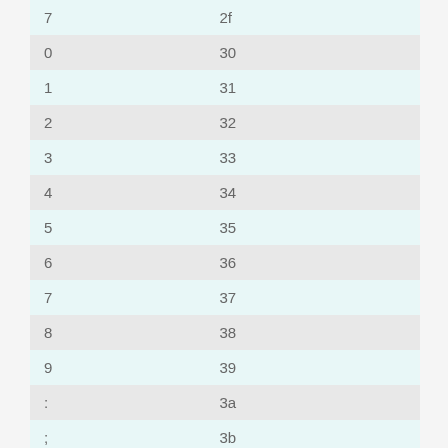| 7 | 2f |
| 0 | 30 |
| 1 | 31 |
| 2 | 32 |
| 3 | 33 |
| 4 | 34 |
| 5 | 35 |
| 6 | 36 |
| 7 | 37 |
| 8 | 38 |
| 9 | 39 |
| : | 3a |
| ; | 3b |
| < | 3c |